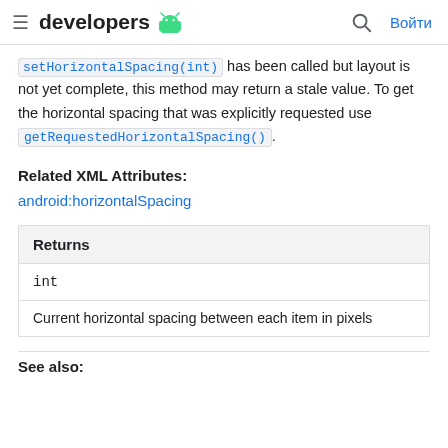≡ developers 🤖  🔍 Войти
setHorizontalSpacing(int) has been called but layout is not yet complete, this method may return a stale value. To get the horizontal spacing that was explicitly requested use getRequestedHorizontalSpacing().
Related XML Attributes:
android:horizontalSpacing
| Returns |
| --- |
| int |
Current horizontal spacing between each item in pixels
See also: